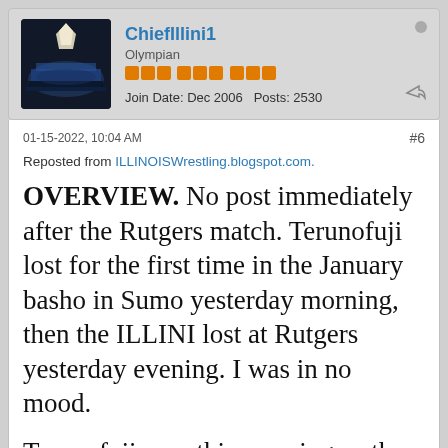ChiefIllini1 | Olympian | Join Date: Dec 2006  Posts: 2530
01-15-2022, 10:04 AM  #6
Reposted from ILLINOISWrestling.blogspot.com.
OVERVIEW. No post immediately after the Rutgers match. Terunofuji lost for the first time in the January basho in Sumo yesterday morning, then the ILLINI lost at Rutgers yesterday evening. I was in no mood.
Terunofuji won this morning so the